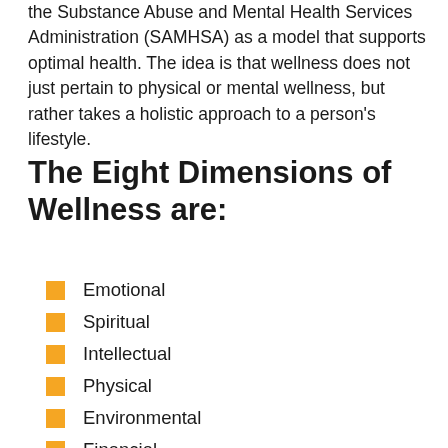the Substance Abuse and Mental Health Services Administration (SAMHSA) as a model that supports optimal health. The idea is that wellness does not just pertain to physical or mental wellness, but rather takes a holistic approach to a person's lifestyle.
The Eight Dimensions of Wellness are:
Emotional
Spiritual
Intellectual
Physical
Environmental
Financial
Occupational
Social